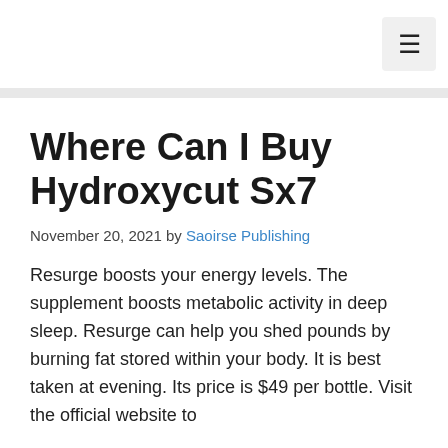≡
Where Can I Buy Hydroxycut Sx7
November 20, 2021 by Saoirse Publishing
Resurge boosts your energy levels. The supplement boosts metabolic activity in deep sleep. Resurge can help you shed pounds by burning fat stored within your body. It is best taken at evening. Its price is $49 per bottle. Visit the official website to